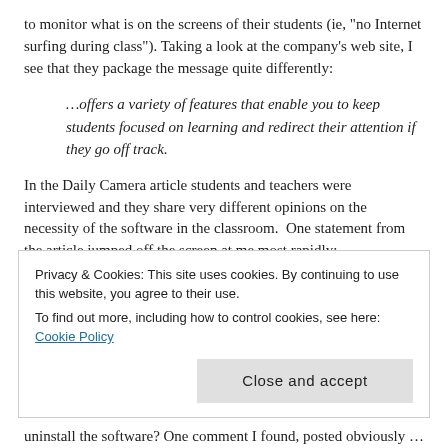to monitor what is on the screens of their students (ie, “no Internet surfing during class”). Taking a look at the company’s web site, I see that they package the message quite differently:
…offers a variety of features that enable you to keep students focused on learning and redirect their attention if they go off track.
In the Daily Camera article students and teachers were interviewed and they share very different opinions on the necessity of the software in the classroom.  One statement from the article jumped off the screen at me most rapidly:
Emilio Bernabei, director of software and content for
Privacy & Cookies: This site uses cookies. By continuing to use this website, you agree to their use.
To find out more, including how to control cookies, see here: Cookie Policy
Close and accept
uninstall the software? One comment I found, posted obviously by a